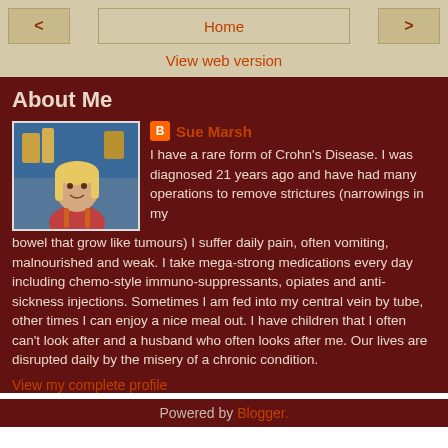< Home >
View web version
About Me
Sue Marsh
I have a rare form of Crohn's Disease. I was diagnosed 21 years ago and have had many operations to remove strictures (narrowings in my bowel that grow like tumours) I suffer daily pain, often vomiting, malnourished and weak. I take mega-strong medications every day including chemo-style immuno-suppressants, opiates and anti-sickness injections. Sometimes I am fed into my central vein by tube, other times I can enjoy a nice meal out. I have children that I often can't look after and a husband who often looks after me. Our lives are disrupted daily by the misery of a chronic condition.
View my complete profile
Powered by Blogger.